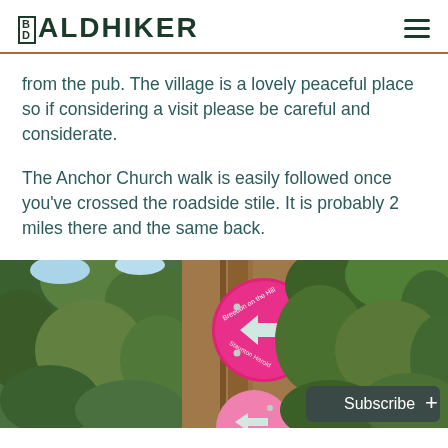BALDHIKER
from the pub. The village is a lovely peaceful place so if considering a visit please be careful and considerate.
The Anchor Church walk is easily followed once you've crossed the roadside stile. It is probably 2 miles there and the same back.
[Figure (photo): A wooden post with pink circular directional trail signs reading 'Breedon on the Hill' with white arrows pointing left, surrounded by green trees and foliage.]